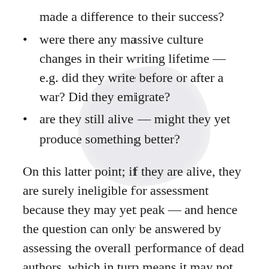made a difference to their success?
were there any massive culture changes in their writing lifetime — e.g. did they write before or after a war? Did they emigrate?
are they still alive — might they yet produce something better?
On this latter point; if they are alive, they are surely ineligible for assessment because they may yet peak — and hence the question can only be answered by assessing the overall performance of dead authors, which in turn means it may not be